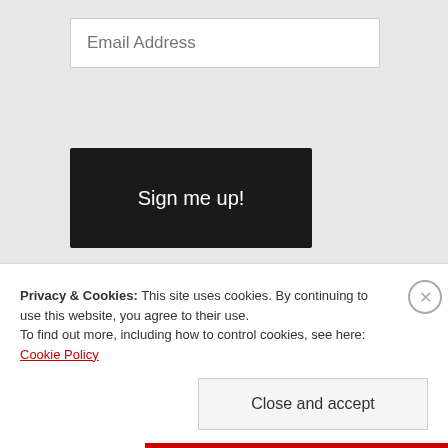Email Address
Sign me up!
Join 281 other followers
CATEGORIES
Select Category
Privacy & Cookies: This site uses cookies. By continuing to use this website, you agree to their use. To find out more, including how to control cookies, see here: Cookie Policy
Close and accept